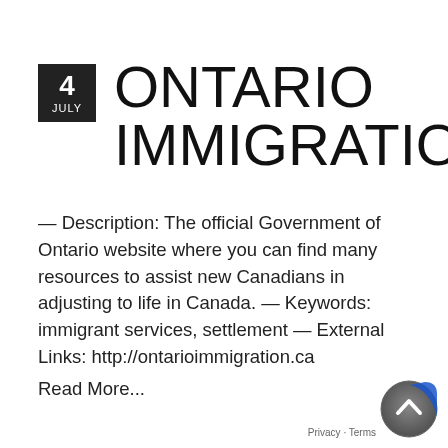ONTARIO IMMIGRATION
— Description: The official Government of Ontario website where you can find many resources to assist new Canadians in adjusting to life in Canada. — Keywords: immigrant services, settlement — External Links: http://ontarioimmigration.ca
Read More...
[Figure (other): Scroll-to-top button icon, circular grey button with upward chevron arrow]
Privacy · Terms